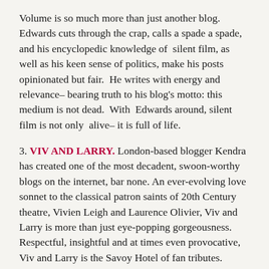Volume is so much more than just another blog. Edwards cuts through the crap, calls a spade a spade, and his encyclopedic knowledge of silent film, as well as his keen sense of politics, make his posts opinionated but fair. He writes with energy and relevance– bearing truth to his blog's motto: this medium is not dead. With Edwards around, silent film is not only alive– it is full of life.
3. VIV AND LARRY. London-based blogger Kendra has created one of the most decadent, swoon-worthy blogs on the internet, bar none. An ever-evolving love sonnet to the classical patron saints of 20th Century theatre, Vivien Leigh and Laurence Olivier, Viv and Larry is more than just eye-popping gorgeousness. Respectful, insightful and at times even provocative, Viv and Larry is the Savoy Hotel of fan tributes.
4. HOLLYWOOD REVUE. Angela's Hollywood Revue slogan is "Where We're Always Ready for Our Close Up"